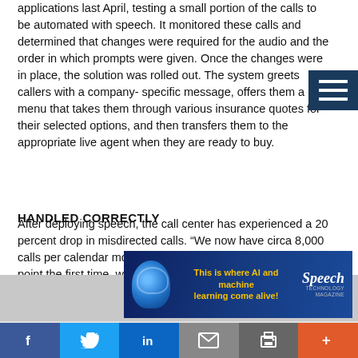applications last April, testing a small portion of the calls to be automated with speech. It monitored these calls and determined that changes were required for the audio and the order in which prompts were given. Once the changes were in place, the solution was rolled out. The system greets callers with a company- specific message, offers them a menu that takes them through various insurance quotes for their selected options, and then transfers them to the appropriate live agent when they are ready to buy.
HANDLED CORRECTLY
After deploying speech, the call center has experienced a 20 percent drop in misdirected calls. “We now have circa 8,000 calls per calendar month that are delivered to the correct point the first time, which has resulted in reduced overhead costs, better response times, and has enabled us to offer a more superior service all round,” Westwick says.  With
[Figure (infographic): Advertisement banner: dark blue background, brain graphic on left, yellow bold text 'This is where AI and machine learning come alive!', Speech Technology magazine logo on right]
[Figure (infographic): Social sharing bar with buttons: Facebook (blue), Twitter (light blue), LinkedIn (dark blue), Email (gray), Print (dark gray), More/+ (orange-red)]